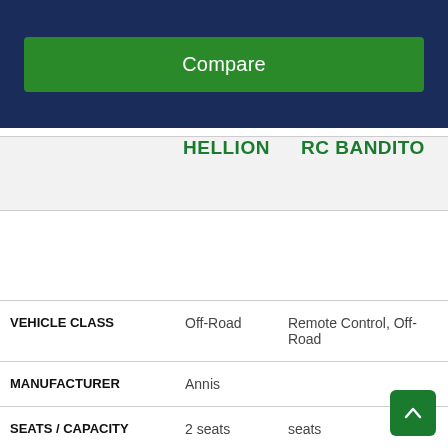[Figure (screenshot): Dark navy blue banner with a green Compare button]
|  | HELLION | RC BANDITO |
| --- | --- | --- |
| VEHICLE CLASS | Off-Road | Remote Control, Off-Road |
| MANUFACTURER | Annis |  |
| SEATS / CAPACITY | 2 seats | seats |